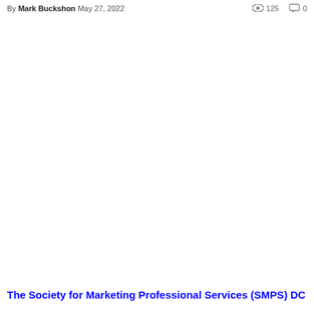By Mark Buckshon May 27, 2022 | 125 views | 0 comments
The Society for Marketing Professional Services (SMPS) DC